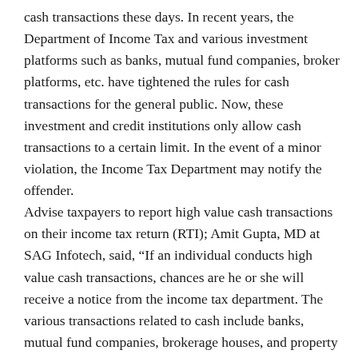cash transactions these days. In recent years, the Department of Income Tax and various investment platforms such as banks, mutual fund companies, broker platforms, etc. have tightened the rules for cash transactions for the general public. Now, these investment and credit institutions only allow cash transactions to a certain limit. In the event of a minor violation, the Income Tax Department may notify the offender. Advise taxpayers to report high value cash transactions on their income tax return (RTI); Amit Gupta, MD at SAG Infotech, said, “If an individual conducts high value cash transactions, chances are he or she will receive a notice from the income tax department. The various transactions related to cash include banks, mutual fund companies, brokerage houses, and property registrars. Large value transactions should always be reported to the income tax department if the value exceeds a particular threshold. The Income Tax Department has made agreements with several government agencies to obtain the financial records of people who engage in high value transactions, but do not report them on their tax returns.